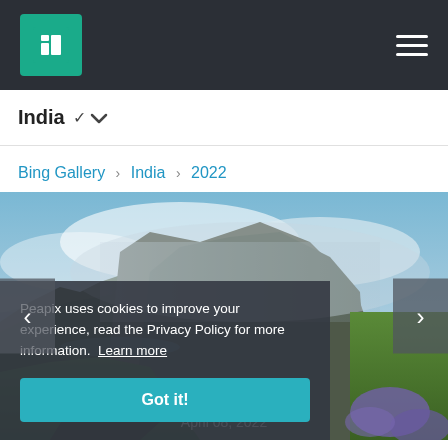Peapix - Navigation bar with logo and hamburger menu
India ⌄
Bing Gallery › India › 2022
[Figure (photo): Landscape photograph showing dramatic misty mountain cliffs with green vegetation and ocean, with a cookie consent overlay and navigation arrows. Date shown: April 08, 2022]
Peapix uses cookies to improve your experience, read the Privacy Policy for more information. Learn more
Got it!
April 08, 2022